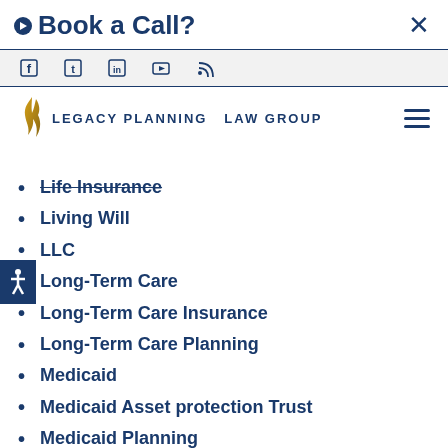Book a Call? ×
[Figure (screenshot): Social media icons bar: Facebook, Twitter, LinkedIn, YouTube, RSS/Blog]
[Figure (logo): Legacy Planning Law Group logo with gold flame/feather icon and dark blue text]
Life Insurance
Living Will
LLC
Long-Term Care
Long-Term Care Insurance
Long-Term Care Planning
Medicaid
Medicaid Asset protection Trust
Medicaid Planning
Medicaid Work Requirements
Millennials
Most Used
News
Non traditional families